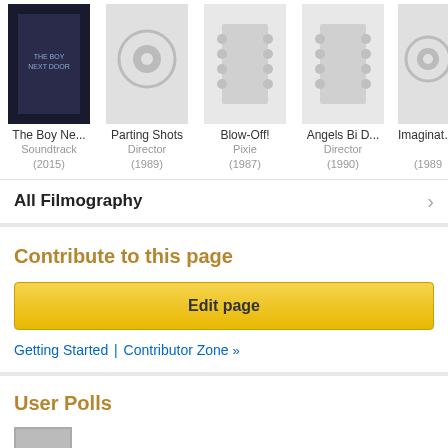[Figure (other): Horizontal filmography strip showing 5 movie tiles: The Boy Ne... (Soundtrack, 2015), Parting Shots (Director, 1989), Blow-Off! (Pixie, 1987), Angels Bi D... (Director, 1990), Imaginatio... (1989)]
All Filmography
Contribute to this page
Edit page
Getting Started | Contributor Zone »
User Polls
2015 MTV Movie Awards